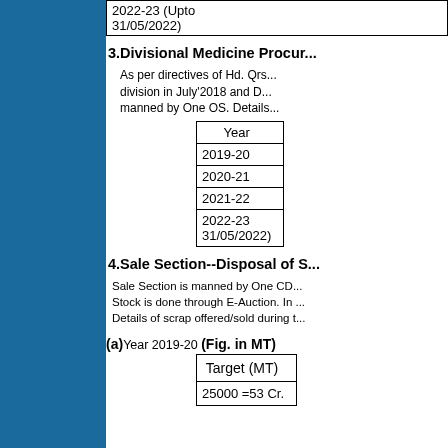|  |
| --- |
| 2022-23 (Upto 31/05/2022) |
3.Divisional Medicine Procur...
As per directives of Hd. Qrs... division in July'2018 and D... manned by One OS. Details...
| Year |
| --- |
| 2019-20 |
| 2020-21 |
| 2021-22 |
| 2022-23 31/05/2022) |
4.Sale Section--Disposal of S...
Sale Section is manned by One CD... Stock is done through E-Auction. In ... Details of scrap offered/sold during t...
(a) Year 2019-20 (Fig. in MT)
| Target (MT) |
| --- |
| 25000 =53 Cr. |